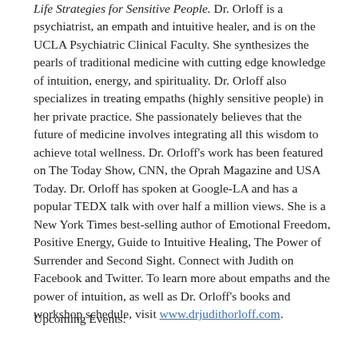Life Strategies for Sensitive People. Dr. Orloff is a psychiatrist, an empath and intuitive healer, and is on the UCLA Psychiatric Clinical Faculty. She synthesizes the pearls of traditional medicine with cutting edge knowledge of intuition, energy, and spirituality. Dr. Orloff also specializes in treating empaths (highly sensitive people) in her private practice. She passionately believes that the future of medicine involves integrating all this wisdom to achieve total wellness. Dr. Orloff's work has been featured on The Today Show, CNN, the Oprah Magazine and USA Today. Dr. Orloff has spoken at Google-LA and has a popular TEDX talk with over half a million views. She is a New York Times best-selling author of Emotional Freedom, Positive Energy, Guide to Intuitive Healing, The Power of Surrender and Second Sight. Connect with Judith on Facebook and Twitter. To learn more about empaths and the power of intuition, as well as Dr. Orloff's books and workshop schedule, visit www.drjudithorloff.com.
Upcoming Events: